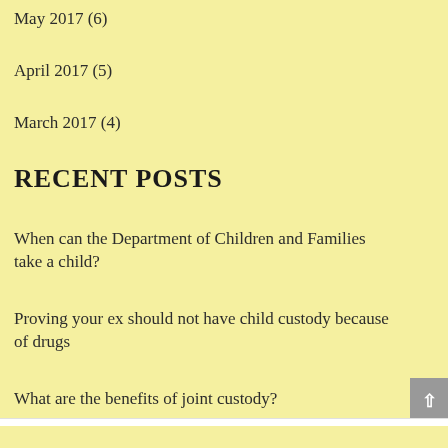May 2017 (6)
April 2017 (5)
March 2017 (4)
RECENT POSTS
When can the Department of Children and Families take a child?
Proving your ex should not have child custody because of drugs
What are the benefits of joint custody?
Unmarried couples and the U.S. Constitution
How to speed up the reunification process